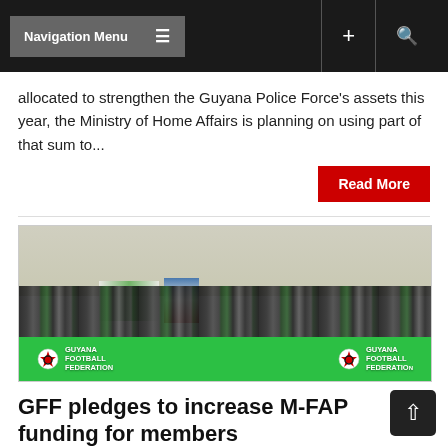Navigation Menu
allocated to strengthen the Guyana Police Force's assets this year, the Ministry of Home Affairs is planning on using part of that sum to...
Read More
[Figure (photo): Group photo of Guyana Football Federation members seated and standing in front of a green GFF-branded banner.]
GFF pledges to increase M-FAP funding for members
Jun 01, 2022  KNews  Sports Comments Off